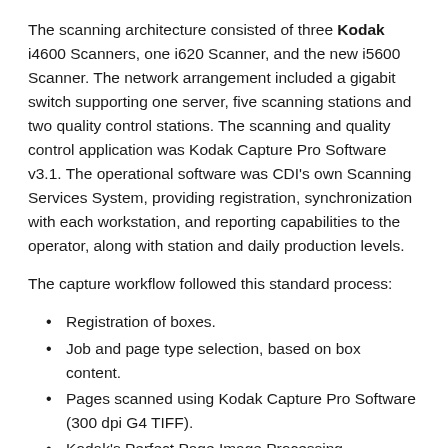The scanning architecture consisted of three Kodak i4600 Scanners, one i620 Scanner, and the new i5600 Scanner. The network arrangement included a gigabit switch supporting one server, five scanning stations and two quality control stations. The scanning and quality control application was Kodak Capture Pro Software v3.1. The operational software was CDI's own Scanning Services System, providing registration, synchronization with each workstation, and reporting capabilities to the operator, along with station and daily production levels.
The capture workflow followed this standard process:
Registration of boxes.
Job and page type selection, based on box content.
Pages scanned using Kodak Capture Pro Software (300 dpi G4 TIFF).
Kodak's Perfect Page Image Processing Technology applied to each image.